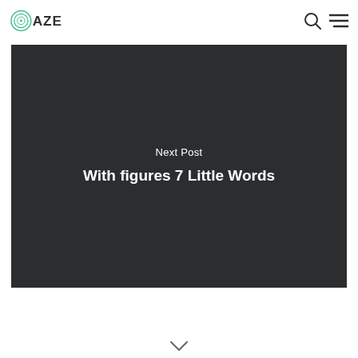OAZE
[Figure (screenshot): Dark hero image block with 'Next Post' label and 'With figures 7 Little Words' title in white text on dark background]
Next Post
With figures 7 Little Words